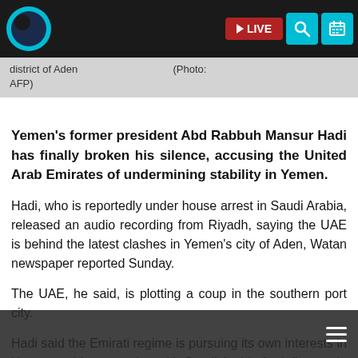[Figure (screenshot): News website navigation bar with circular logo (dark blue/teal), LIVE button in red, search icon in teal, and calendar icon in teal]
district of Aden ... (Photo: AFP)
Yemen's former president Abd Rabbuh Mansur Hadi has finally broken his silence, accusing the United Arab Emirates of undermining stability in Yemen.
Hadi, who is reportedly under house arrest in Saudi Arabia, released an audio recording from Riyadh, saying the UAE is behind the latest clashes in Yemen's city of Aden, Watan newspaper reported Sunday.
The UAE, he said, is plotting a coup in the southern port city.
Hadi said the Emirati regime is pursuing its own interests in Yemen and is competing with Saudi Arabia for influence in the impoverished country. Saudi Arabia launched a bloody military campaign early in 2015 in an attempt to reinstall Hadi and crush the Houthis who administer the capital